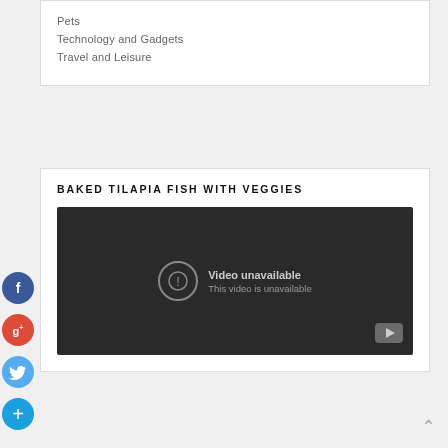Pets
Technology and Gadgets
Travel and Leisure
BAKED TILAPIA FISH WITH VEGGIES
[Figure (screenshot): Embedded video player showing 'Video unavailable - This video is unavailable' message on dark background with YouTube button]
[Figure (other): Social media share buttons: Facebook (blue), Google+ (red), Twitter (blue), Add (blue circle with plus)]